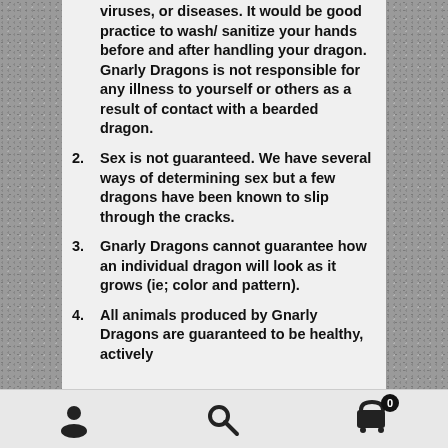viruses, or diseases. It would be good practice to wash/ sanitize your hands before and after handling your dragon. Gnarly Dragons is not responsible for any illness to yourself or others as a result of contact with a bearded dragon.
2. Sex is not guaranteed. We have several ways of determining sex but a few dragons have been known to slip through the cracks.
3. Gnarly Dragons cannot guarantee how an individual dragon will look as it grows (ie; color and pattern).
4. All animals produced by Gnarly Dragons are guaranteed to be healthy, actively
Navigation bar with user icon, search icon, and cart icon with badge 0